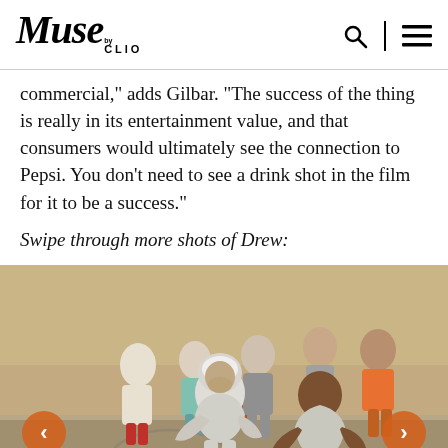Muse by CLIO
commercial," adds Gilbar. "The success of the thing is really in its entertainment value, and that consumers would ultimately see the connection to Pepsi. You don't need to see a drink shot in the film for it to be a success."
Swipe through more shots of Drew:
[Figure (photo): Basketball scene on an outdoor court. An older man with white hair in a grey hoodie is crouching in a defensive stance against a younger man in a grey tank top and red shorts. Several people stand in the background, including someone in an orange t-shirt. Navigation arrows (left and right) are overlaid on the image.]